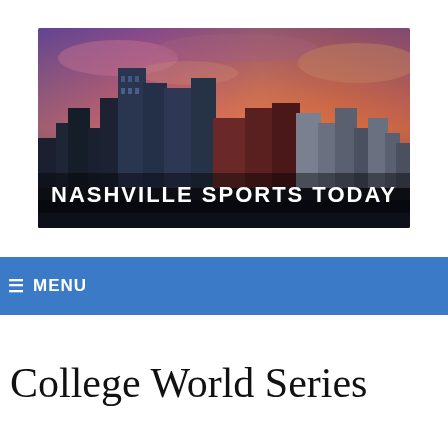[Figure (illustration): Nashville Sports Today website banner showing Nashville city skyline at sunset with purple and orange sky and white bold text 'NASHVILLE SPORTS TODAY' overlaid at the bottom center]
≡ MENU
College World Series